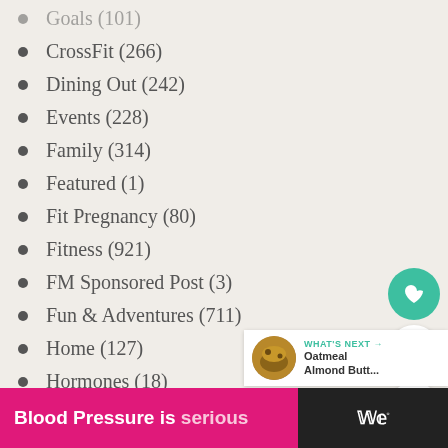Goals (101)
CrossFit (266)
Dining Out (242)
Events (228)
Family (314)
Featured (1)
Fit Pregnancy (80)
Fitness (921)
FM Sponsored Post (3)
Fun & Adventures (711)
Home (127)
Hormones (18)
Hotels (67)
Marathon Training (59)
Money Matters (34)
Nutrition (528)
Paleo (50)
[Figure (infographic): Sidebar widgets: heart/like button (teal), count bubble showing 1, share button. What's Next panel showing oatmeal almond butter recipe thumbnail.]
[Figure (infographic): Advertisement banner: Blood Pressure is serious (pink/magenta background), with logo on dark right side.]